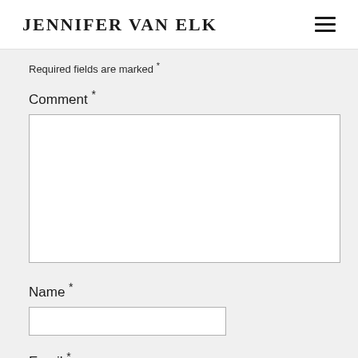JENNIFER VAN ELK
Required fields are marked *
Comment *
Name *
Email *